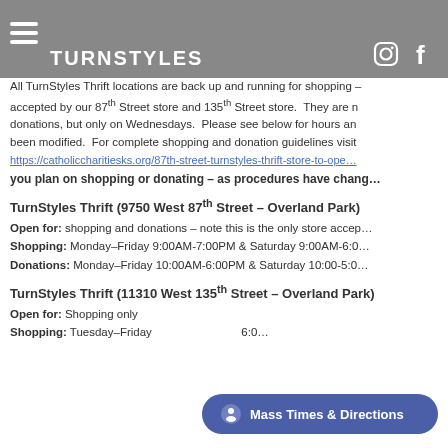TURNSTYLES
All TurnStyles Thrift locations are back up and running for shopping – accepted by our 87th Street store and 135th Street store. They are not accepting donations, but only on Wednesdays. Please see below for hours and been modified. For complete shopping and donation guidelines visit https://catholiccharitiesks.org/87th-street-turnstyles-thrift-store-to-ope… you plan on shopping or donating – as procedures have changed
TurnStyles Thrift (9750 West 87th Street – Overland Park)
Open for: shopping and donations – note this is the only store accepting donations
Shopping: Monday–Friday 9:00AM-7:00PM & Saturday 9:00AM-6:00PM
Donations: Monday–Friday 10:00AM-6:00PM & Saturday 10:00-5:00PM
TurnStyles Thrift (11310 West 135th Street – Overland Park)
Open for: Shopping only
Shopping: Tuesday–Friday 6:00PM